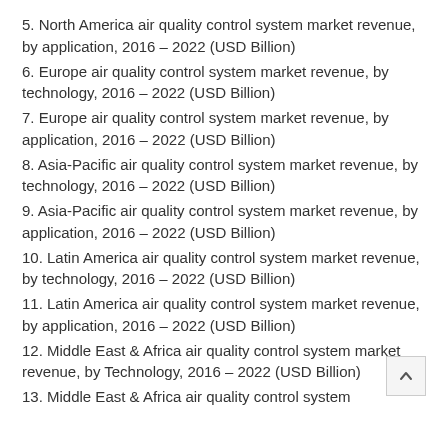5. North America air quality control system market revenue, by application, 2016 – 2022 (USD Billion)
6. Europe air quality control system market revenue, by technology, 2016 – 2022 (USD Billion)
7. Europe air quality control system market revenue, by application, 2016 – 2022 (USD Billion)
8. Asia-Pacific air quality control system market revenue, by technology, 2016 – 2022 (USD Billion)
9. Asia-Pacific air quality control system market revenue, by application, 2016 – 2022 (USD Billion)
10. Latin America air quality control system market revenue, by technology, 2016 – 2022 (USD Billion)
11. Latin America air quality control system market revenue, by application, 2016 – 2022 (USD Billion)
12. Middle East & Africa air quality control system market revenue, by Technology, 2016 – 2022 (USD Billion)
13. Middle East & Africa air quality control system